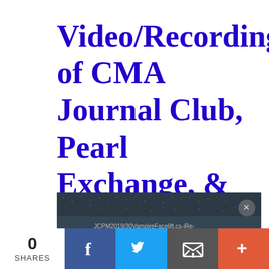Video/Recording of CMA Journal Club, Pearl Exchange, & Marketing Tips
[Figure (screenshot): Screenshot of a video player or browser window showing a URL referencing JCPM2019/30VampireFaceliftSearch.TearTroughs.BagsUnderEyes.OS- with a dark background and navigation dots, and a close (X) button]
0 SHARES | Facebook | Twitter | Email | +